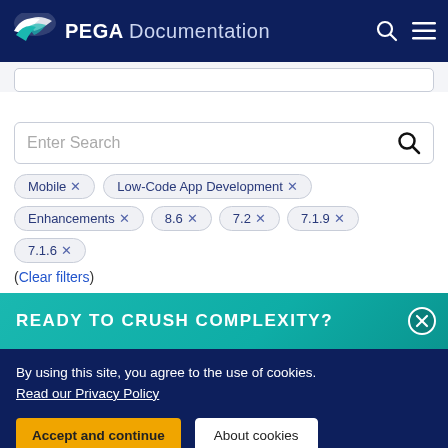PEGA Documentation
Enter Search
Mobile ×
Low-Code App Development ×
Enhancements ×
8.6 ×
7.2 ×
7.1.9 ×
7.1.6 ×
(Clear filters)
READY TO CRUSH COMPLEXITY?
By using this site, you agree to the use of cookies. Read our Privacy Policy
Accept and continue
About cookies